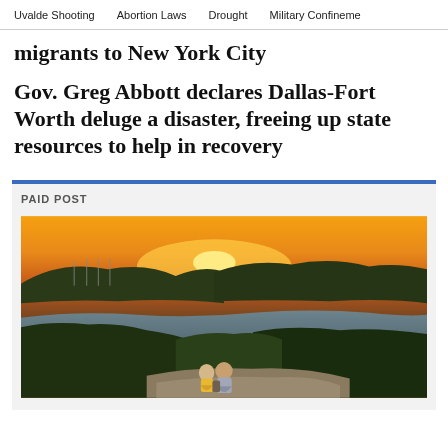Uvalde Shooting   Abortion Laws   Drought   Military Confineme
migrants to New York City
Gov. Greg Abbott declares Dallas-Fort Worth deluge a disaster, freeing up state resources to help in recovery
PAID POST
[Figure (photo): A couple sitting on a rocky overlook at sunset, viewing a scenic river winding through hills and trees, with radio towers visible in the background and an orange sunset sky.]